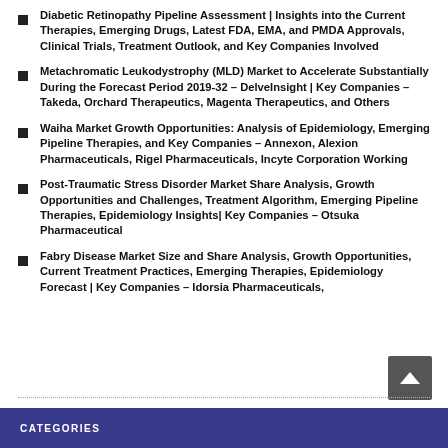Diabetic Retinopathy Pipeline Assessment | Insights into the Current Therapies, Emerging Drugs, Latest FDA, EMA, and PMDA Approvals, Clinical Trials, Treatment Outlook, and Key Companies Involved
Metachromatic Leukodystrophy (MLD) Market to Accelerate Substantially During the Forecast Period 2019-32 – DelveInsight | Key Companies – Takeda, Orchard Therapeutics, Magenta Therapeutics, and Others
Waiha Market Growth Opportunities: Analysis of Epidemiology, Emerging Pipeline Therapies, and Key Companies – Annexon, Alexion Pharmaceuticals, Rigel Pharmaceuticals, Incyte Corporation Working
Post-Traumatic Stress Disorder Market Share Analysis, Growth Opportunities and Challenges, Treatment Algorithm, Emerging Pipeline Therapies, Epidemiology Insights| Key Companies – Otsuka Pharmaceutical
Fabry Disease Market Size and Share Analysis, Growth Opportunities, Current Treatment Practices, Emerging Therapies, Epidemiology Forecast | Key Companies – Idorsia Pharmaceuticals,
CATEGORIES